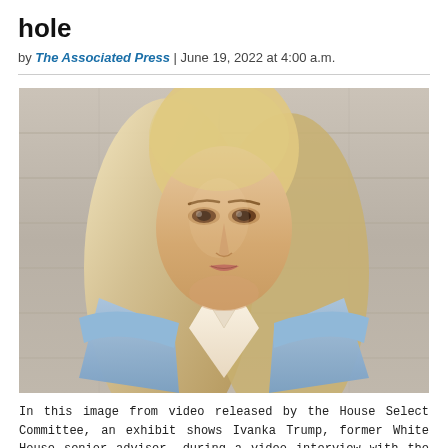hole
by The Associated Press | June 19, 2022 at 4:00 a.m.
[Figure (photo): Video still image from House Select Committee showing Ivanka Trump, former White House senior adviser, during a video interview with the House select committee investigating the]
In this image from video released by the House Select Committee, an exhibit shows Ivanka Trump, former White House senior adviser, during a video interview with the House select committee investigating the